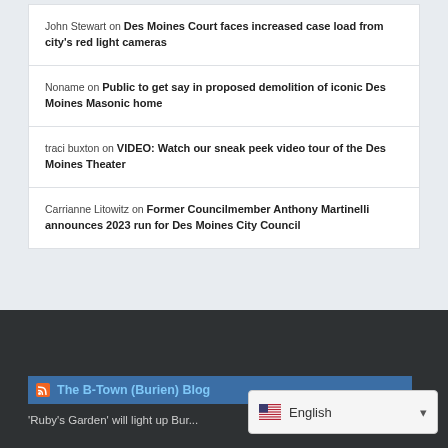John Stewart on Des Moines Court faces increased case load from city's red light cameras
Noname on Public to get say in proposed demolition of iconic Des Moines Masonic home
traci buxton on VIDEO: Watch our sneak peek video tour of the Des Moines Theater
Carrianne Litowitz on Former Councilmember Anthony Martinelli announces 2023 run for Des Moines City Council
The B-Town (Burien) Blog
'Ruby's Garden' will light up Bur...